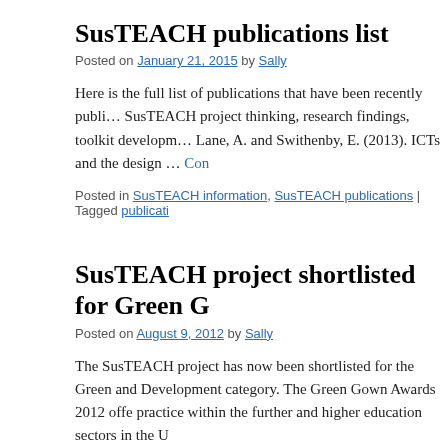SusTEACH publications list
Posted on January 21, 2015 by Sally
Here is the full list of publications that have been recently publi… SusTEACH project thinking, research findings, toolkit developm… Lane, A. and Swithenby, E. (2013). ICTs and the design … Con
Posted in SusTEACH information, SusTEACH publications | Tagged publicati
SusTEACH project shortlisted for Green G
Posted on August 9, 2012 by Sally
The SusTEACH project has now been shortlisted for the Green and Development category. The Green Gown Awards 2012 offe practice within the further and higher education sectors in the U http://www.eauc.org.uk/green_gown_awards/. … Continue read
Posted in SusTEACH information | Tagged Green Gown Awards, SusTEACH